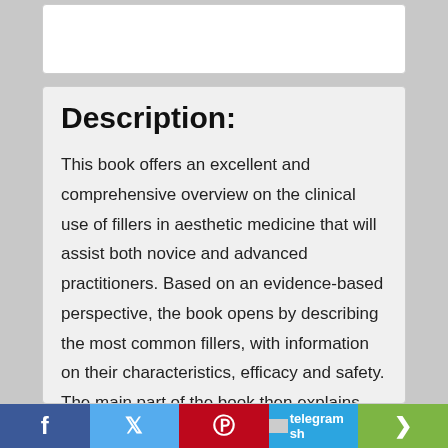Description:
This book offers an excellent and comprehensive overview on the clinical use of fillers in aesthetic medicine that will assist both novice and advanced practitioners. Based on an evidence-based perspective, the book opens by describing the most common fillers, with information on their characteristics, efficacy and safety. The main part of the book then explains how to use fillers for the most frequent facial indications, such as the
f  [twitter]  [pinterest]  telegram sh  [share]